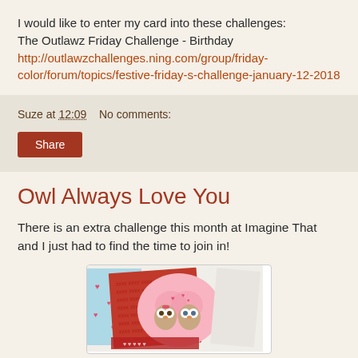I would like to enter my card into these challenges:
The Outlawz Friday Challenge - Birthday
http://outlawzchallenges.ning.com/group/friday-color/forum/topics/festive-friday-s-challenge-january-12-2018
Suze at 12:09   No comments:
Share
Owl Always Love You
There is an extra challenge this month at Imagine That and I just had to find the time to join in!
[Figure (photo): Photo of handmade Valentine's Day cards featuring owl illustrations with hearts, on patterned paper backgrounds]